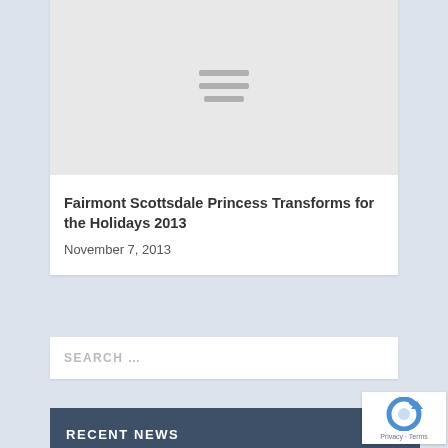[Figure (other): Placeholder image with hamburger menu icon lines, light gray background]
Fairmont Scottsdale Princess Transforms for the Holidays 2013
November 7, 2013
SEARCH …
RECENT NEWS